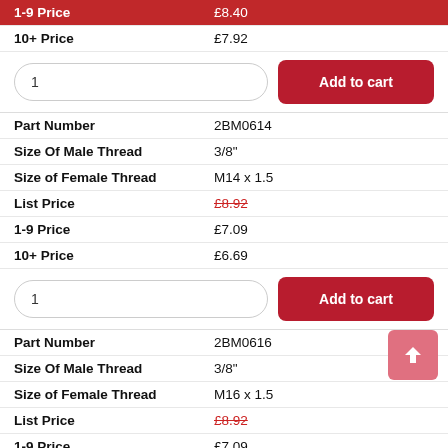| Label | Value |
| --- | --- |
| 1-9 Price | £8.40 |
| 10+ Price | £7.92 |
| Label | Value |
| --- | --- |
| Part Number | 2BM0614 |
| Size Of Male Thread | 3/8" |
| Size of Female Thread | M14 x 1.5 |
| List Price | £8.92 |
| 1-9 Price | £7.09 |
| 10+ Price | £6.69 |
| Label | Value |
| --- | --- |
| Part Number | 2BM0616 |
| Size Of Male Thread | 3/8" |
| Size of Female Thread | M16 x 1.5 |
| List Price | £8.92 |
| 1-9 Price | £7.09 |
| 10+ Price | £6.69 |